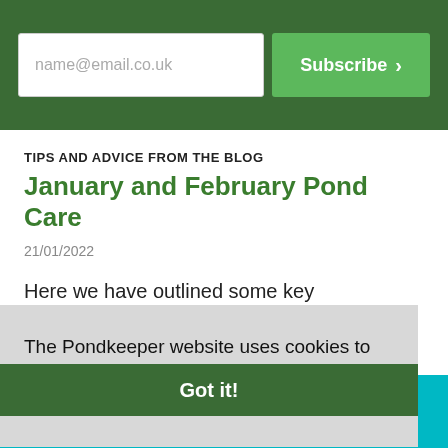[Figure (screenshot): Email subscription input field with placeholder 'name@email.co.uk' and a green 'Subscribe >' button on dark green background]
TIPS AND ADVICE FROM THE BLOG
January and February Pond Care
21/01/2022
Here we have outlined some key maintenance tips for your pond in January.
The Pondkeeper website uses cookies to make sure you get the best browsing experience.  Find out more
Got it!
aquarium needs. #aquarium #aquariums